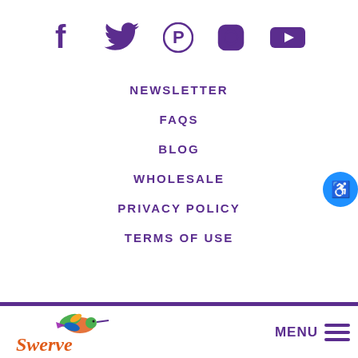[Figure (infographic): Social media icons: Facebook, Twitter, Pinterest, Instagram, YouTube in purple]
NEWSLETTER
FAQS
BLOG
WHOLESALE
PRIVACY POLICY
TERMS OF USE
[Figure (logo): Swerve logo with hummingbird and colorful text]
MENU